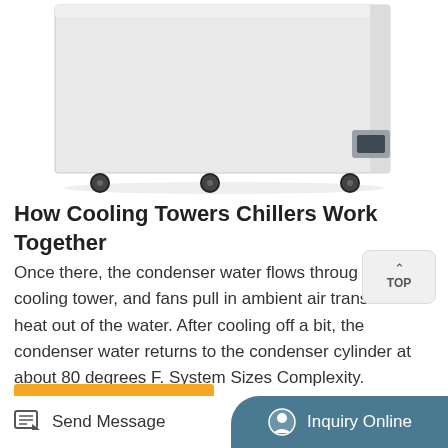[Figure (photo): A white industrial chiller/cooling unit on wheels, viewed from the front-right angle. The unit has a rectangular white body with a small dark control panel on the lower right side, and four black caster wheels at the bottom.]
How Cooling Towers Chillers Work Together
Once there, the condenser water flows through the cooling tower, and fans pull in ambient air transfer heat out of the water. After cooling off a bit, the condenser water returns to the condenser cylinder at about 80 degrees F. System Sizes Complexity. Depending on the scale and layout of a building, multiple chillers and cooling towers ...
More Product
Send Message
Inquiry Online